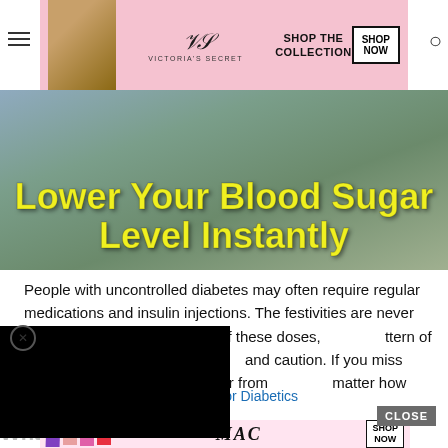[Figure (screenshot): Victoria's Secret advertisement banner with model, logo, SHOP THE COLLECTION text and SHOP NOW button]
[Figure (photo): Hero image with text overlay: Lower Your Blood Sugar Level Instantly in bold yellow font on a nature background]
People with uncontrolled diabetes may often require regular medications and insulin injections. The festivities are never [obscured] importance of these doses, [obscured] ttern of these medicines should [obscured] and caution. If you miss doses, [obscured] levels, or suffer from [obscured] matter how healthy you
Don't Miss:  Is Pedialyte Safe For Diabetics
[Figure (screenshot): MAC cosmetics advertisement banner with lipstick products, MAC logo and SHOP NOW button]
Wha